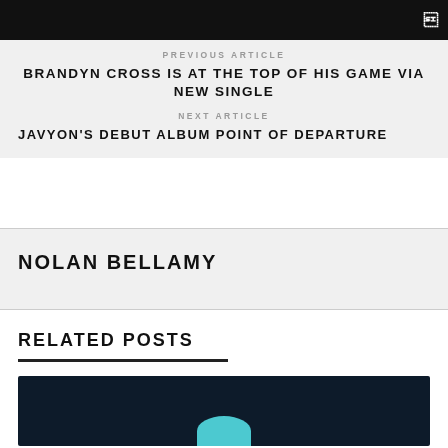🔍
PREVIOUS ARTICLE
BRANDYN CROSS IS AT THE TOP OF HIS GAME VIA NEW SINGLE
NEXT ARTICLE
JAVYON'S DEBUT ALBUM POINT OF DEPARTURE
NOLAN BELLAMY
RELATED POSTS
[Figure (photo): Dark background image with teal semicircle shape at bottom center, partial view]